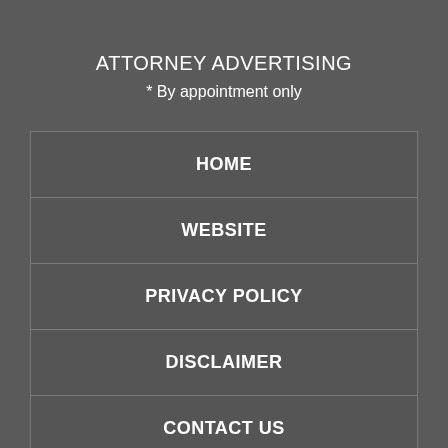ATTORNEY ADVERTISING
* By appointment only
HOME
WEBSITE
PRIVACY POLICY
DISCLAIMER
CONTACT US